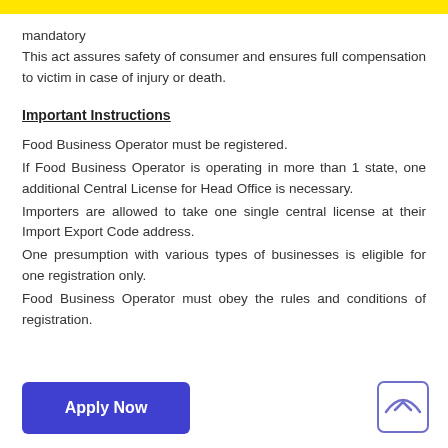mandatory
This act assures safety of consumer and ensures full compensation to victim in case of injury or death.
Important Instructions
Food Business Operator must be registered.
If Food Business Operator is operating in more than 1 state, one additional Central License for Head Office is necessary.
Importers are allowed to take one single central license at their Import Export Code address.
One presumption with various types of businesses is eligible for one registration only.
Food Business Operator must obey the rules and conditions of registration.